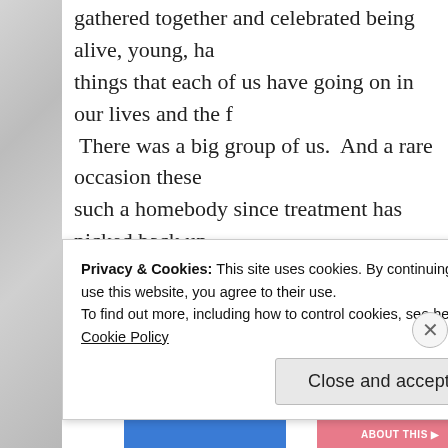gathered together and celebrated being alive, young, ha... things that each of us have going on in our lives and the f... There was a big group of us.  And a rare occasion these... such a homebody since treatment has picked back up.
When we got home from the Irish pub that we regularly... do make it out of the house, Steve and I sat outside on t... terrace of our condo.  It was far past closing time, so it m... the morning.  I nestled my head into his chest and we bo... table that was before us.
With so many serious conversations under our belt, we b... and Steve's ability to actually relate to our conf...
Privacy & Cookies: This site uses cookies. By continuing to use this website, you agree to their use.
To find out more, including how to control cookies, see here: Cookie Policy